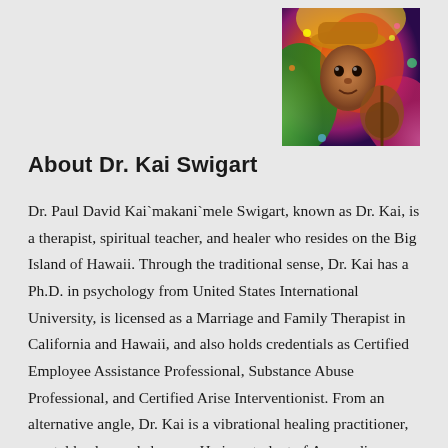[Figure (photo): Colorful artistic/psychedelic portrait photo of Dr. Kai Swigart wearing a hat, with vibrant red, green, yellow and pink colors]
About Dr. Kai Swigart
Dr. Paul David Kai`makani`mele Swigart, known as Dr. Kai, is a therapist, spiritual teacher, and healer who resides on the Big Island of Hawaii. Through the traditional sense, Dr. Kai has a Ph.D. in psychology from United States International University, is licensed as a Marriage and Family Therapist in California and Hawaii, and also holds credentials as Certified Employee Assistance Professional, Substance Abuse Professional, and Certified Arise Interventionist. From an alternative angle, Dr. Kai is a vibrational healing practitioner, crystal healer, and shaman. He is a student of Ayurvedic Medicine, Quantum Physics,